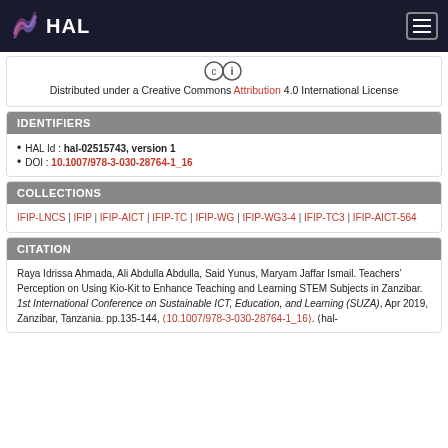HAL
Distributed under a Creative Commons Attribution 4.0 International License
IDENTIFIERS
HAL Id : hal-02515743, version 1
DOI : 10.1007/978-3-030-28764-1_16
COLLECTIONS
IFIP-LNCS | IFIP | IFIP-AICT | IFIP-TC | IFIP-WG | IFIP-WG3-4 | IFIP-TC3 | IFIP-AICT-564
CITATION
Raya Idrissa Ahmada, Ali Abdulla Abdulla, Said Yunus, Maryam Jaffar Ismail. Teachers’ Perception on Using Kio-Kit to Enhance Teaching and Learning STEM Subjects in Zanzibar. 1st International Conference on Sustainable ICT, Education, and Learning (SUZA), Apr 2019, Zanzibar, Tanzania. pp.135-144, ⟨10.1007/978-3-030-28764-1_16⟩. ⟨hal-